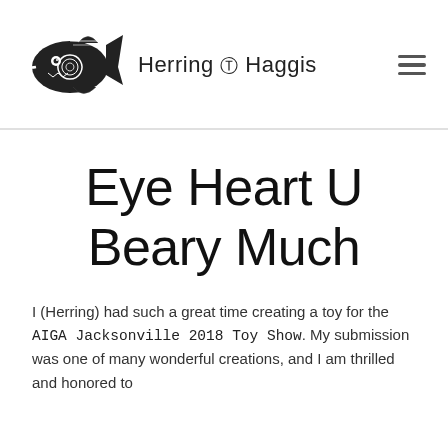[Figure (logo): Herring & Haggis logo: a decorative fish/ram hybrid creature illustration in black ink, followed by the brand name 'Herring & Haggis' in sans-serif text]
Eye Heart U Beary Much
I (Herring) had such a great time creating a toy for the AIGA Jacksonville 2018 Toy Show. My submission was one of many wonderful creations, and I am thrilled and honored to